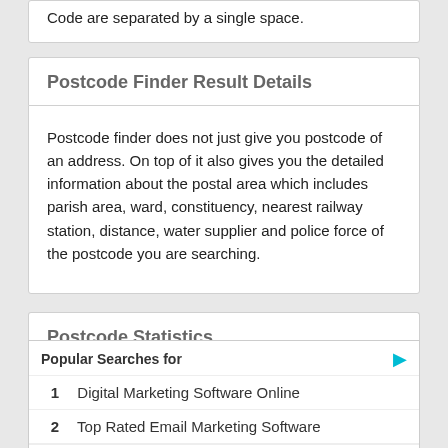Code are separated by a single space.
Postcode Finder Result Details
Postcode finder does not just give you postcode of an address. On top of it also gives you the detailed information about the postal area which includes parish area, ward, constituency, nearest railway station, distance, water supplier and police force of the postcode you are searching.
Postcode Statistics
Total p
Total p
Total p
[Figure (screenshot): Ad overlay: Popular Searches for - 1. Digital Marketing Software Online, 2. Top Rated Email Marketing Software - Yahoo! Search | Sponsored]